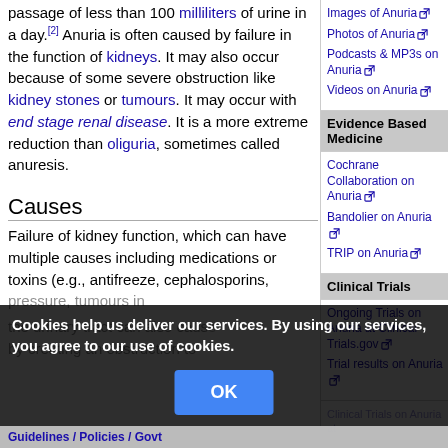passage of less than 100 milliliters of urine in a day.[2] Anuria is often caused by failure in the function of kidneys. It may also occur because of some severe obstruction like kidney stones or tumours. It may occur with end stage renal disease. It is a more extreme reduction than oliguria, sometimes called anuresis.
Images of Anuria
Photos of Anuria
Podcasts & MP3s on Anuria
Videos on Anuria
Evidence Based Medicine
Cochrane Collaboration on Anuria
Bandolier on Anuria
TRIP on Anuria
Clinical Trials
Ongoing Trials on Anuria at Clinical Trials.gov
Trial results on Anuria
Causes
Failure of kidney function, which can have multiple causes including medications or toxins (e.g., antifreeze, cephalosporins, pressure, tumours in the urinary tract can also cause by creating an obstruction to
Cookies help us deliver our services. By using our services, you agree to our use of cookies.
OK
Guidelines / Policies / Govt